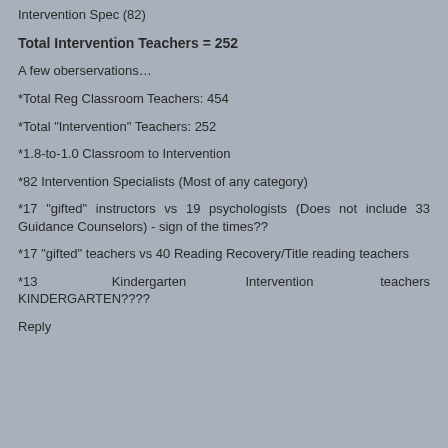Intervention Spec (82)
Total Intervention Teachers = 252
A few oberservations…
*Total Reg Classroom Teachers: 454
*Total "Intervention" Teachers: 252
*1.8-to-1.0 Classroom to Intervention
*82 Intervention Specialists (Most of any category)
*17 "gifted" instructors vs 19 psychologists (Does not include 33 Guidance Counselors) - sign of the times??
*17 "gifted" teachers vs 40 Reading Recovery/Title reading teachers
*13 Kindergarten Intervention teachers KINDERGARTEN????
Reply